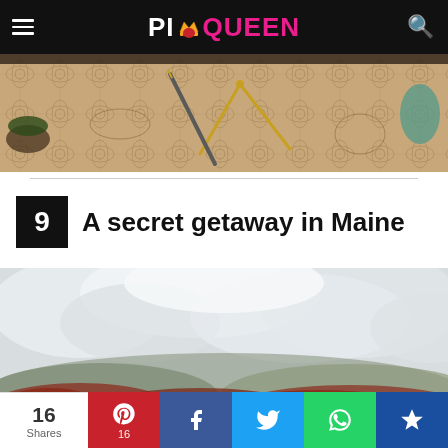PICQUEEN
[Figure (photo): Overhead view of decorative patterned fabric or carpet with drawing compass and pen instruments placed on top]
9  A secret getaway in Maine
[Figure (photo): Aerial panoramic view of rolling hills covered in autumn foliage under a cloudy overcast sky in Maine]